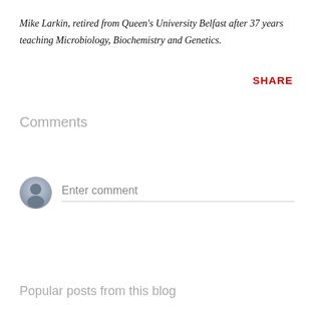Mike Larkin, retired from Queen's University Belfast after 37 years teaching Microbiology, Biochemistry and Genetics.
SHARE
Comments
Enter comment
Popular posts from this blog